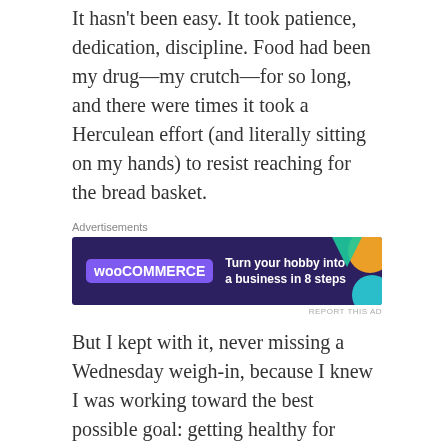It hasn't been easy. It took patience, dedication, discipline. Food had been my drug—my crutch—for so long, and there were times it took a Herculean effort (and literally sitting on my hands) to resist reaching for the bread basket.
[Figure (other): WooCommerce advertisement banner with purple background, teal and orange shapes, WooCommerce logo, and text: Turn your hobby into a business in 8 steps]
But I kept with it, never missing a Wednesday weigh-in, because I knew I was working toward the best possible goal: getting healthy for myself, my family and my soon-to-be husband.
When I took a step back (and I did), I learned to be gentle with myself. To be patient.